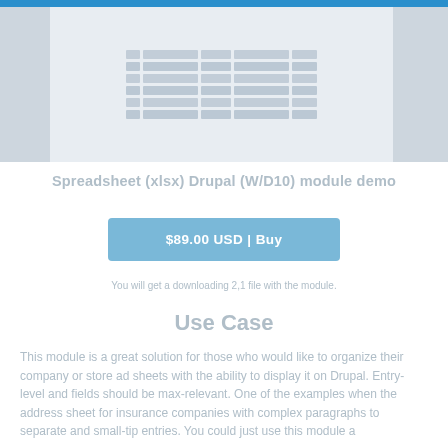[Figure (screenshot): Screenshot of a spreadsheet/Drupal module interface showing a table-like grid with rows and columns of data cells]
Spreadsheet (xlsx) Drupal (W/D10) module demo
[Figure (other): Buy button showing price: $89.00 USD | Buy]
You will get a downloading 2,1 file with the module.
Use Case
This module is a great solution for those who would like to organize their company or store ad sheets with the ability to display it on Drupal. Entry-level and fields should be max-relevant. One of the examples when the address sheet for insurance companies with complex paragraphs to separate and small-tip entries. You could just use this module a